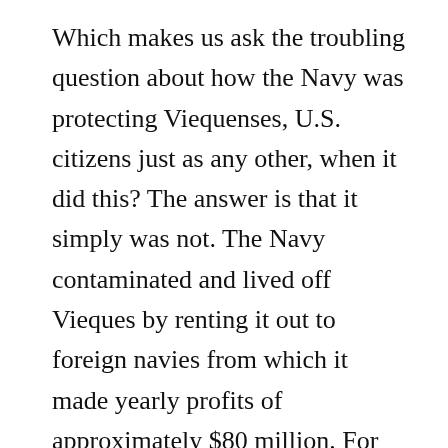Which makes us ask the troubling question about how the Navy was protecting Viequenses, U.S. citizens just as any other, when it did this? The answer is that it simply was not. The Navy contaminated and lived off Vieques by renting it out to foreign navies from which it made yearly profits of approximately $80 million. For more than 60 years, Vieques civilians, basically, had to put up with experiencing daily war conditions. However, for the most part, Viequenses refused to turn this protest into a nationalist issue. The island residents raised their voices to complain against the bleak social